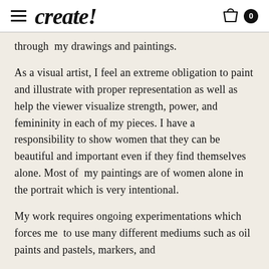create!
through my drawings and paintings.
As a visual artist, I feel an extreme obligation to paint and illustrate with proper representation as well as help the viewer visualize strength, power, and femininity in each of my pieces. I have a responsibility to show women that they can be beautiful and important even if they find themselves alone. Most of my paintings are of women alone in the portrait which is very intentional.
My work requires ongoing experimentations which forces me to use many different mediums such as oil paints and pastels, markers, and